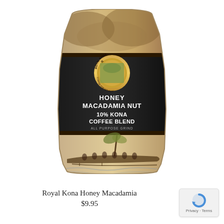[Figure (photo): Royal Kona Coffee bag — Honey Macadamia Nut 10% Kona Coffee Blend, All Purpose Grind, Net Wt 8 oz (227g). The bag has a black center panel with gold/white text, a circular Royal Kona logo with Hawaiian landscape, and a tan/beige lower portion with an illustrated Hawaiian outrigger canoe scene.]
Royal Kona Honey Macadamia
$9.95